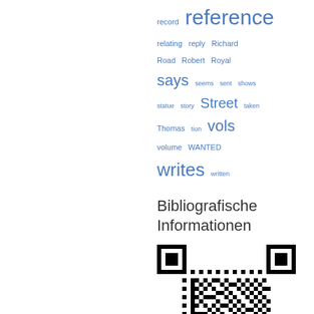[Figure (other): Tag cloud with words in various sizes in blue: record, reference (largest), relating, reply, Richard, Road, Robert, Royal, says, seems, sent, shows, statue, story, Street, taken, Thomas, tion, vols (large), volume, WANTED, writes (large), written]
Bibliografische Informationen
[Figure (other): QR code for bibliographic information]